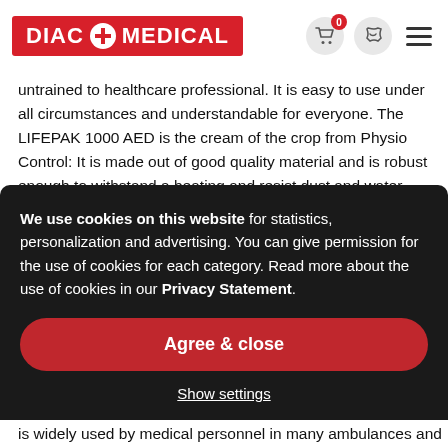DIAC MEDICAL
untrained to healthcare professional. It is easy to use under all circumstances and understandable for everyone. The LIFEPAK 1000 AED is the cream of the crop from Physio Control: It is made out of good quality material and is robust enough to withstand a beating and resist dust and water. Jets of water, falling from a great height or bouncing down the stairs; the
We use cookies on this website for statistics, personalization and advertising. You can give permission for the use of cookies for each category. Read more about the use of cookies in our Privacy Statement.
Agree & close
Show settings
is widely used by medical personnel in many ambulances and